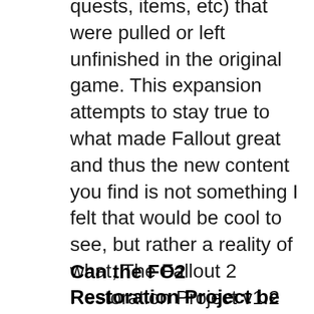quests, items, etc) that were pulled or left unfinished in the original game. This expansion attempts to stay true to what made Fallout great and thus the new content you find is not something I felt that would be cool to see, but rather a reality of what, The Fallout 2 Restoration Project v1.2 Supplementary Guide for killap's expansion pack This page is an unauthorised addendum for " The Nearly Ultimate Fallout 2 Guide " which was written by Per Jorner. Only new information about changes and additions specific to killap's Restoration Project вЂ¦.
Can the FO2 Restoration Project be used on the steam